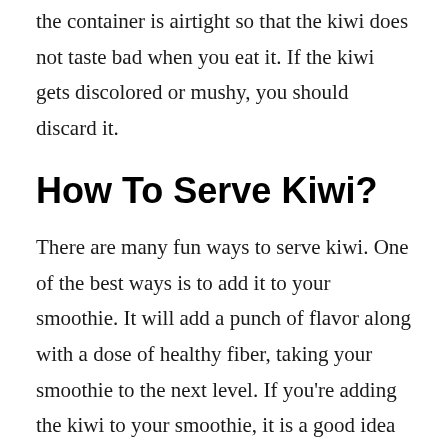the container is airtight so that the kiwi does not taste bad when you eat it. If the kiwi gets discolored or mushy, you should discard it.
How To Serve Kiwi?
There are many fun ways to serve kiwi. One of the best ways is to add it to your smoothie. It will add a punch of flavor along with a dose of healthy fiber, taking your smoothie to the next level. If you’re adding the kiwi to your smoothie, it is a good idea to add it along with the skin. The skin is an excellent source of